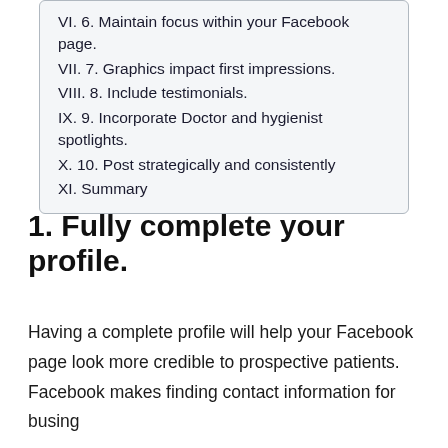VI. 6. Maintain focus within your Facebook page.
VII. 7. Graphics impact first impressions.
VIII. 8. Include testimonials.
IX. 9. Incorporate Doctor and hygienist spotlights.
X. 10. Post strategically and consistently
XI. Summary
1. Fully complete your profile.
Having a complete profile will help your Facebook page look more credible to prospective patients. Facebook makes finding contact information for businesses